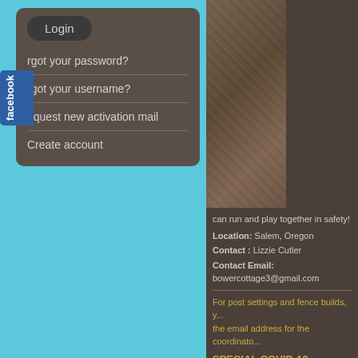[Figure (screenshot): Login dropdown menu with dark brown background showing Login button, Forgot your password?, Forgot your username?, Request new activation mail, Create account links]
facebook
[Figure (photo): Photo of fence/netting structure on right side]
can run and play together in safety!
Location: Salem, Oregon
Contact : Lizzie Cutler
Contact Email: bowercottage3@gmail.com
For post settings and fence builds, you need the email address for the coordinator
SPECIAL COVID-19 GUIDEL...
Starting March 11, for all Fences Fo... mask mandate throughout Oregon s...